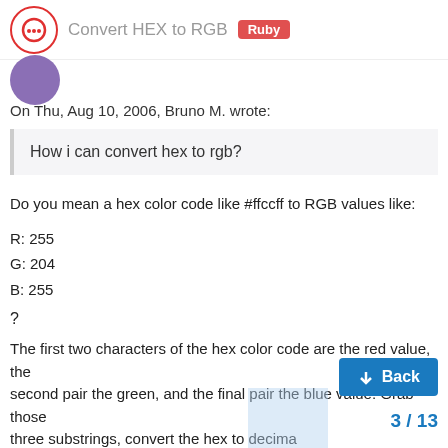Convert HEX to RGB
On Thu, Aug 10, 2006, Bruno M. wrote:
How i can convert hex to rgb?
Do you mean a hex color code like #ffccff to RGB values like:
R: 255
G: 204
B: 255
?
The first two characters of the hex color code are the red value, the second pair the green, and the final pair the blue value. Grab those three substrings, convert the hex to decima